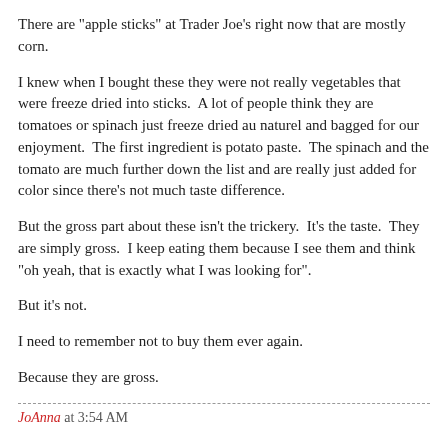There are "apple sticks" at Trader Joe's right now that are mostly corn.
I knew when I bought these they were not really vegetables that were freeze dried into sticks.  A lot of people think they are tomatoes or spinach just freeze dried au naturel and bagged for our enjoyment.  The first ingredient is potato paste.  The spinach and the tomato are much further down the list and are really just added for color since there's not much taste difference.
But the gross part about these isn't the trickery.  It's the taste.  They are simply gross.  I keep eating them because I see them and think "oh yeah, that is exactly what I was looking for".
But it's not.
I need to remember not to buy them ever again.
Because they are gross.
JoAnna at 3:54 AM